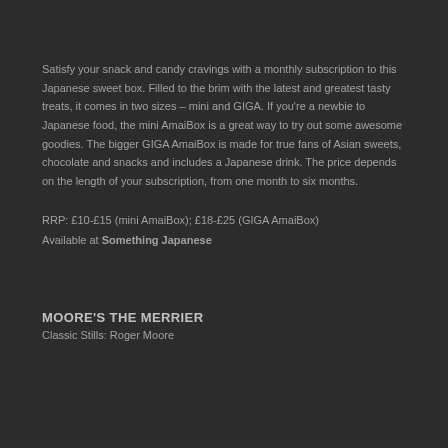Satisfy your snack and candy cravings with a monthly subscription to this Japanese sweet box. Filled to the brim with the latest and greatest tasty treats, it comes in two sizes – mini and GIGA. If you're a newbie to Japanese food, the mini AmaiBox is a great way to try out some awesome goodies. The bigger GIGA AmaiBox is made for true fans of Asian sweets, chocolate and snacks and includes a Japanese drink. The price depends on the length of your subscription, from one month to six months.
RRP: £10-£15 (mini AmaiBox); £18-£25 (GIGA AmaiBox)
Available at Something Japanese
MOORE'S THE MERRIER
Classic Stills: Roger Moore